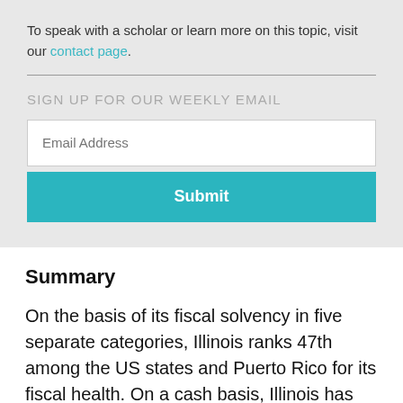To speak with a scholar or learn more on this topic, visit our contact page.
SIGN UP FOR OUR WEEKLY EMAIL
Email Address
Submit
Summary
On the basis of its fiscal solvency in five separate categories, Illinois ranks 47th among the US states and Puerto Rico for its fiscal health. On a cash basis, Illinois has between